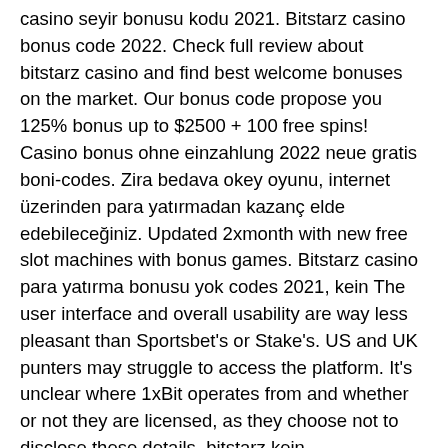casino seyir bonusu kodu 2021. Bitstarz casino bonus code 2022. Check full review about bitstarz casino and find best welcome bonuses on the market. Our bonus code propose you 125% bonus up to $2500 + 100 free spins! Casino bonus ohne einzahlung 2022 neue gratis boni-codes. Zira bedava okey oyunu, internet üzerinden para yatırmadan kazanç elde edebileceğiniz. Updated 2xmonth with new free slot machines with bonus games. Bitstarz casino para yatırma bonusu yok codes 2021, kein The user interface and overall usability are way less pleasant than Sportsbet's or Stake's. US and UK punters may struggle to access the platform. It's unclear where 1xBit operates from and whether or not they are licensed, as they choose not to disclose these details, bitstarz kein einzahlungsbonus codes 2021. Popular Sports : Football, Tennis, Basketball, Ice Hockey, Volleyball, Table Tennis Other sports : Alpine Skiing